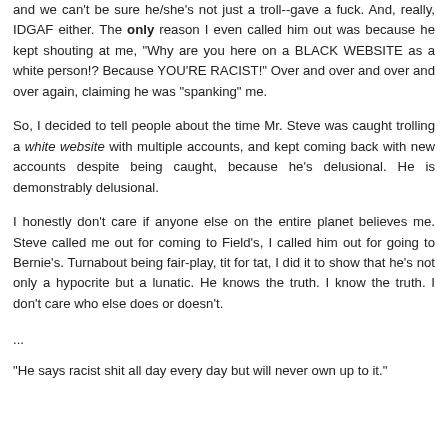and we can't be sure he/she's not just a troll--gave a fuck. And, really, IDGAF either. The only reason I even called him out was because he kept shouting at me, "Why are you here on a BLACK WEBSITE as a white person!? Because YOU'RE RACIST!" Over and over and over and over again, claiming he was "spanking" me.
So, I decided to tell people about the time Mr. Steve was caught trolling a white website with multiple accounts, and kept coming back with new accounts despite being caught, because he's delusional. He is demonstrably delusional.
I honestly don't care if anyone else on the entire planet believes me. Steve called me out for coming to Field's, I called him out for going to Bernie's. Turnabout being fair-play, tit for tat, I did it to show that he's not only a hypocrite but a lunatic. He knows the truth. I know the truth. I don't care who else does or doesn't.
...
"He says racist shit all day every day but will never own up to it."